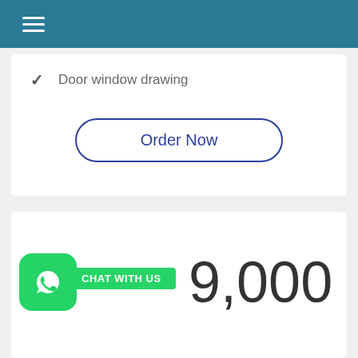≡
✓  Door window drawing
Order Now
CHAT WITH US   Rs 19,000